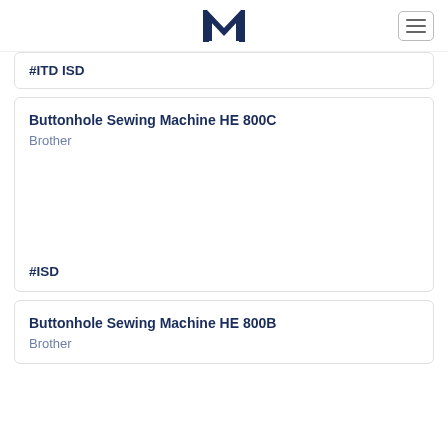[Figure (logo): M logo mark in dark navy blue]
#ITD ISD
Buttonhole Sewing Machine HE 800C
Brother
#ISD
Buttonhole Sewing Machine HE 800B
Brother